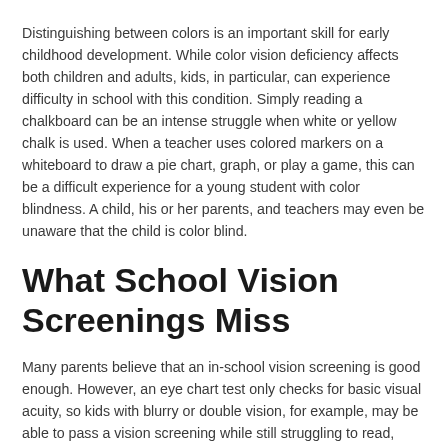Distinguishing between colors is an important skill for early childhood development. While color vision deficiency affects both children and adults, kids, in particular, can experience difficulty in school with this condition. Simply reading a chalkboard can be an intense struggle when white or yellow chalk is used. When a teacher uses colored markers on a whiteboard to draw a pie chart, graph, or play a game, this can be a difficult experience for a young student with color blindness. A child, his or her parents, and teachers may even be unaware that the child is color blind.
What School Vision Screenings Miss
Many parents believe that an in-school vision screening is good enough. However, an eye chart test only checks for basic visual acuity, so kids with blurry or double vision, for example, may be able to pass a vision screening while still struggling to read, write, or focus on the board. Children who have problems with their binocular vision, which means using both eyes together to focus